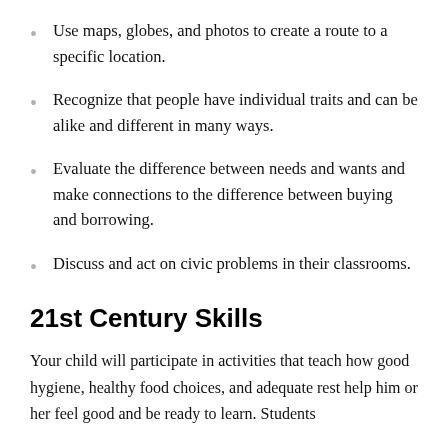Use maps, globes, and photos to create a route to a specific location.
Recognize that people have individual traits and can be alike and different in many ways.
Evaluate the difference between needs and wants and make connections to the difference between buying and borrowing.
Discuss and act on civic problems in their classrooms.
21st Century Skills
Your child will participate in activities that teach how good hygiene, healthy food choices, and adequate rest help him or her feel good and be ready to learn. Students